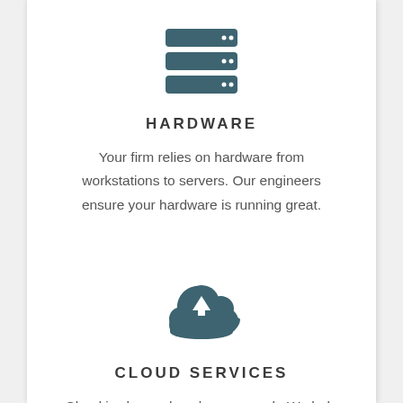[Figure (illustration): Server/hardware icon: three horizontal rounded rectangles stacked vertically with two dots on the right side of each, colored dark teal/slate]
HARDWARE
Your firm relies on hardware from workstations to servers. Our engineers ensure your hardware is running great.
[Figure (illustration): Cloud upload icon: dark teal cloud shape with an upward-pointing arrow in white inside]
CLOUD SERVICES
Cloud is change how lawyers work. We help you take advantage of the cloud to strengthen